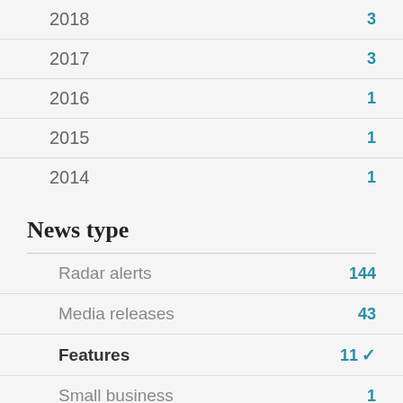2018  3
2017  3
2016  1
2015  1
2014  1
News type
Radar alerts  144
Media releases  43
Features  11 ✓
Small business  1